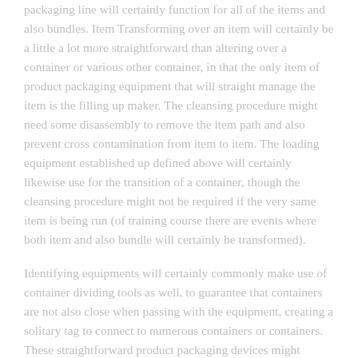packaging line will certainly function for all of the items and also bundles. Item Transforming over an item will certainly be a little a lot more straightforward than altering over a container or various other container, in that the only item of product packaging equipment that will straight manage the item is the filling up maker. The cleansing procedure might need some disassembly to remove the item path and also prevent cross contamination from item to item. The loading equipment established up defined above will certainly likewise use for the transition of a container, though the cleansing procedure might not be required if the very same item is being run (of training course there are events where both item and also bundle will certainly be transformed).
Identifying equipments will certainly commonly make use of container dividing tools as well, to guarantee that containers are not also close when passing with the equipment, creating a solitary tag to connect to numerous containers or containers. These straightforward product packaging devices might additionally need size, elevation as well as rate changes for